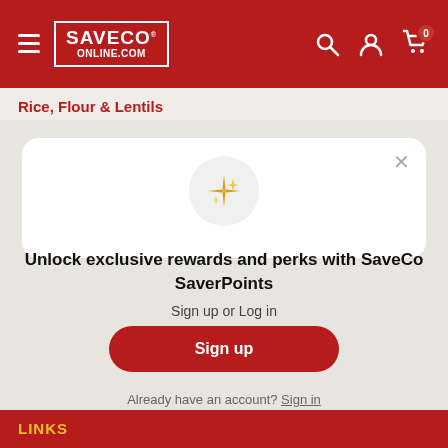[Figure (logo): SaveCo Online.com logo in white on red header with hamburger menu, search, account, and cart icons]
Rice, Flour & Lentils
[Figure (illustration): Gold sparkle/star emoji icon in a light grey circle]
Unlock exclusive rewards and perks with SaveCo SaverPoints
Sign up or Log in
Sign up
Already have an account? Sign in
LINKS